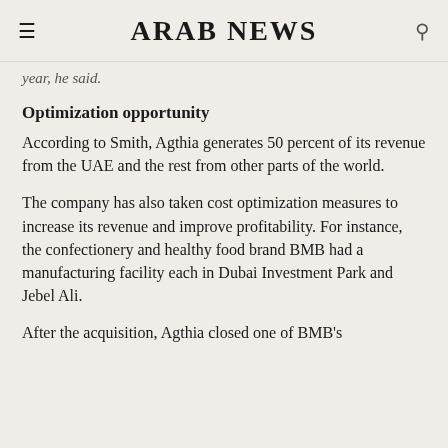ARAB NEWS
year, he said.
Optimization opportunity
According to Smith, Agthia generates 50 percent of its revenue from the UAE and the rest from other parts of the world.
The company has also taken cost optimization measures to increase its revenue and improve profitability. For instance, the confectionery and healthy food brand BMB had a manufacturing facility each in Dubai Investment Park and Jebel Ali.
After the acquisition, Agthia closed one of BMB's